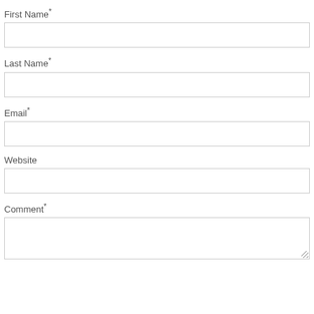First Name*
[Figure (other): Empty text input field for First Name]
Last Name*
[Figure (other): Empty text input field for Last Name]
Email*
[Figure (other): Empty text input field for Email]
Website
[Figure (other): Empty text input field for Website]
Comment*
[Figure (other): Empty textarea field for Comment with resize handle]